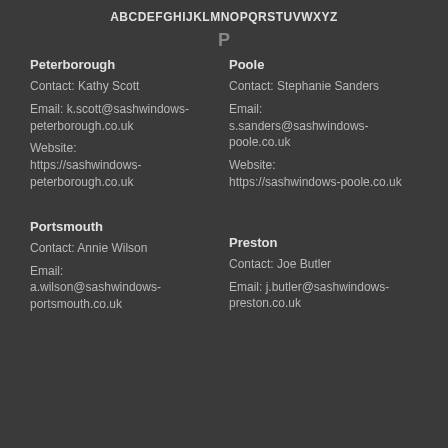ABCDEFGHIJKLMNOPQRSTUVWXYZ
P
Peterborough
Contact: Kathy Scott
Email: k.scott@sashwindows-peterborough.co.uk
Website: https://sashwindows-peterborough.co.uk
Poole
Contact: Stephanie Sanders
Email: s.sanders@sashwindows-poole.co.uk
Website: https://sashwindows-poole.co.uk
Portsmouth
Contact: Annie Wilson
Email: a.wilson@sashwindows-portsmouth.co.uk
Preston
Contact: Joe Butler
Email: j.butler@sashwindows-preston.co.uk